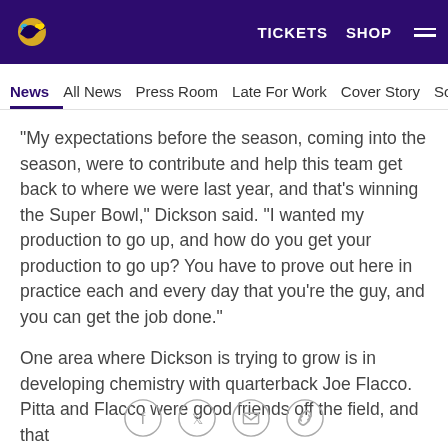TICKETS  SHOP  ☰
News  All News  Press Room  Late For Work  Cover Story  Soc
"My expectations before the season, coming into the season, were to contribute and help this team get back to where we were last year, and that's winning the Super Bowl," Dickson said. "I wanted my production to go up, and how do you get your production to go up? You have to prove out here in practice each and every day that you're the guy, and you can get the job done."
One area where Dickson is trying to grow is in developing chemistry with quarterback Joe Flacco. Pitta and Flacco were good friends off the field, and that